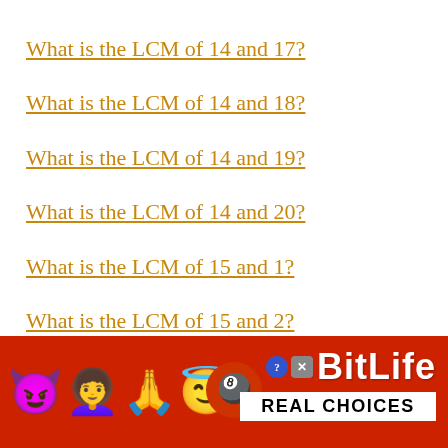What is the LCM of 14 and 17?
What is the LCM of 14 and 18?
What is the LCM of 14 and 19?
What is the LCM of 14 and 20?
What is the LCM of 15 and 1?
What is the LCM of 15 and 2?
What is the LCM of 15 and 3?
What is the LCM of 15 and 4? (partial)
[Figure (other): BitLife advertisement banner with emojis (devil, woman raising hands, angel, sperm) and BitLife logo with 'REAL CHOICES' text on red background]